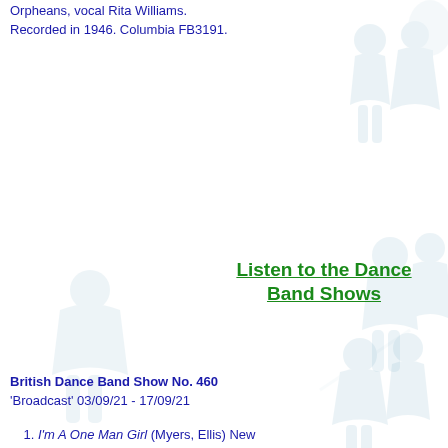Orpheans, vocal Rita Williams. Recorded in 1946. Columbia FB3191.
Listen to the Dance Band Shows
British Dance Band Show No. 460 'Broadcast' 03/09/21 - 17/09/21
I'm A One Man Girl (Myers, Ellis) New Mayfair Dance Orchestra directed by Carroll Gibbons. Recorded 13 December 1928. HMV B5590.
When You're Hair Has Turned To Silver (Tobias, de Rose) Jack Payne and his BBC Dance Orchestra, vocal Val